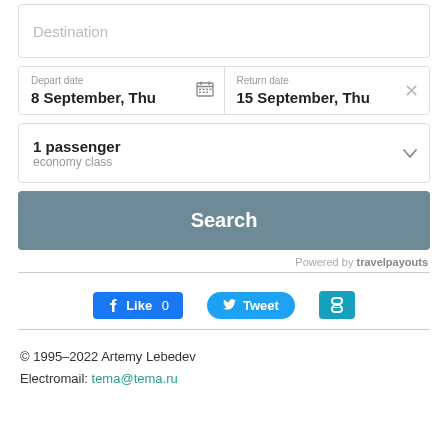[Figure (screenshot): Destination input field (empty, placeholder text shown)]
[Figure (screenshot): Date selection row: Depart date 8 September, Thu and Return date 15 September, Thu]
[Figure (screenshot): Passenger selector: 1 passenger, economy class]
[Figure (screenshot): Search button (gray-blue)]
Powered by travelpayouts
[Figure (screenshot): Social sharing buttons: Like 0, Tweet, clipboard icon]
© 1995–2022 Artemy Lebedev
Electromail: tema@tema.ru